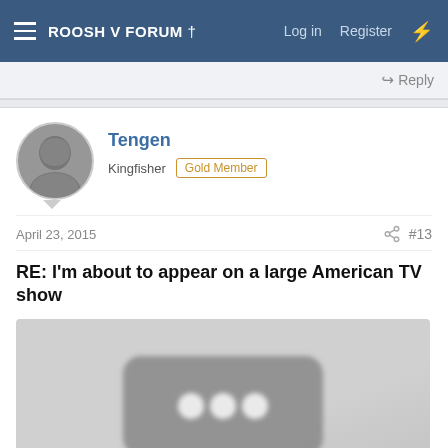ROOSH V FORUM †  Log in  Register
Reply
Tengen
Kingfisher  Gold Member
April 23, 2015  #13
RE: I'm about to appear on a large American TV show
[Figure (other): Embedded media thumbnail — a blurred/loading video player icon with three white circles on a rounded rectangle, grey background, representing a YouTube or video embed placeholder]